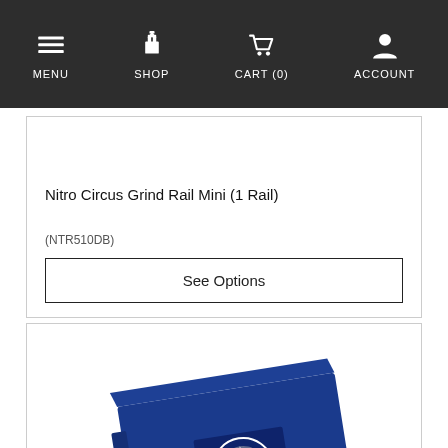MENU  SHOP  CART (0)  ACCOUNT
Nitro Circus Grind Rail Mini (1 Rail)
(NTR510DB)
See Options
[Figure (photo): Blue boxed Nitro Circus product packaging with logo, partially visible at bottom of page]